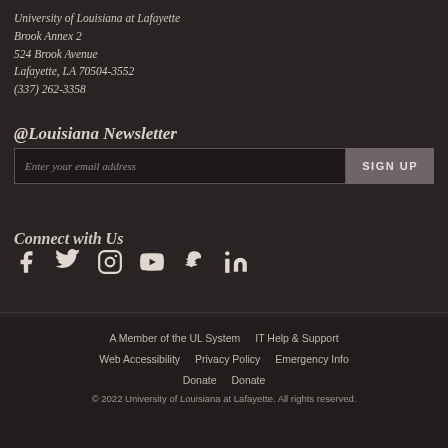University of Louisiana at Lafayette
Brook Annex 2
524 Brook Avenue
Lafayette, LA 70504-3552
(337) 262-3358
@Louisiana Newsletter
Enter your email address [SIGN UP button]
Connect with Us
[Figure (infographic): Social media icons: Facebook, Twitter, Instagram, YouTube, Snapchat, LinkedIn]
A Member of the UL System  IT Help & Support
Web Accessibility  Privacy Policy  Emergency Info
Donate  Donate
© 2022 University of Louisiana at Lafayette. All rights reserved.